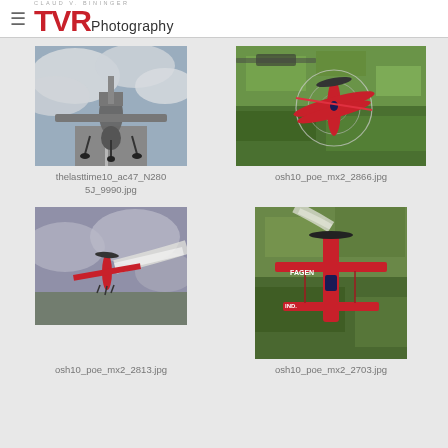TVR Photography
[Figure (photo): Aircraft viewed from behind on runway, cloudy sky]
thelasttime10_ac47_N2805J_9990.jpg
[Figure (photo): Red aerobatic aircraft with circular target overlay, aerial view over green fields]
osh10_poe_mx2_2866.jpg
[Figure (photo): Small red aircraft with smoke trail, aerial view]
osh10_poe_mx2_2813.jpg
[Figure (photo): Red biplane with FAGEN text, aerial view over green fields]
osh10_poe_mx2_2703.jpg